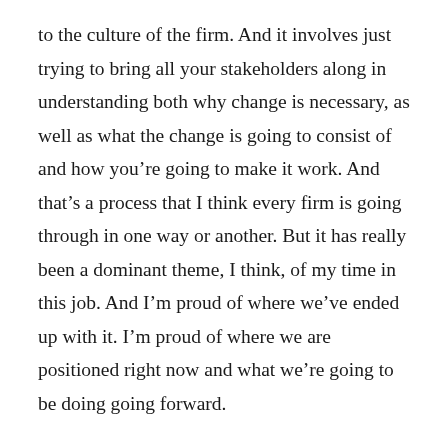to the culture of the firm. And it involves just trying to bring all your stakeholders along in understanding both why change is necessary, as well as what the change is going to consist of and how you’re going to make it work. And that’s a process that I think every firm is going through in one way or another. But it has really been a dominant theme, I think, of my time in this job. And I’m proud of where we’ve ended up with it. I’m proud of where we are positioned right now and what we’re going to be doing going forward.
LAW WEEK (to Sharrer): What’s next for you in terms of your role at the firm and your practice? What do you get to do now that you perhaps lacked